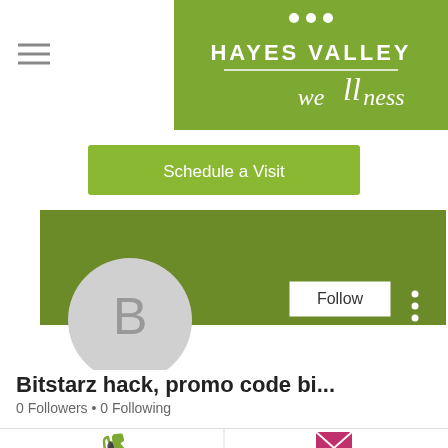[Figure (screenshot): Hayes Valley Wellness logo on green background with three dots above and a horizontal rule below the name]
[Figure (screenshot): Green 'Schedule a Visit' button]
[Figure (screenshot): Green profile banner with circular avatar showing letter B, Follow button, and three-dot menu]
Bitstarz hack, promo code bi...
0 Followers • 0 Following
[Figure (screenshot): Contact icons row: green phone icon on left, magenta email envelope icon on right]